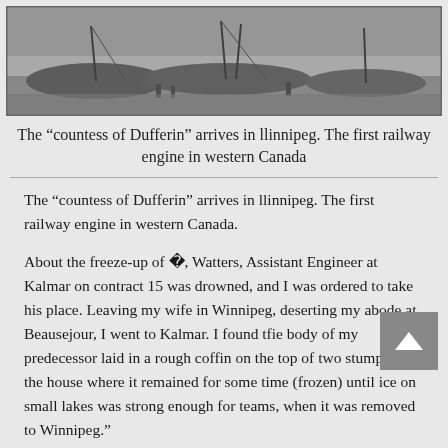[Figure (photo): Black and white photograph of boats, likely historical, appearing to show the Countess of Dufferin railway engine arrival scene in Winnipeg.]
The “countess of Dufferin” arrives in llinnipeg. The first railway engine in western Canada
The “countess of Dufferin” arrives in llinnipeg. The first railway engine in western Canada.
About the freeze-up of ‘77, Watters, Assistant Engineer at Kalmar on contract 15 was drowned, and I was ordered to take his place. Leaving my wife in Winnipeg, deserting my abode at Beausejour, I went to Kalmar. I found tfie body of my predecessor laid in a rough coffin on the top of two stumps near the house where it remained for some time (frozen) until ice on small lakes was strong enough for teams, when it was removed to Winnipeg.”
Having transfered his headquarters from Beausejour to Kal*a. in Section 15, Mr. Armstrong became involved in some of the most